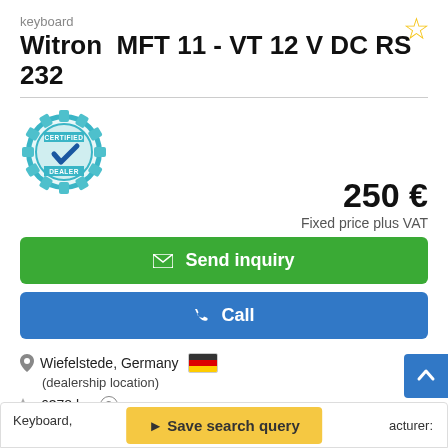keyboard
Witron  MFT 11 - VT 12 V DC RS 232
[Figure (illustration): Certified Dealer badge — teal gear with checkmark and text CERTIFIED DEALER]
250 €
Fixed price plus VAT
✉ Send inquiry
✆ Call
Wiefelstede, Germany 🇩🇪
(dealership location)
6378 km ?
used
Keyboard,
▲ Save search query
acturer: